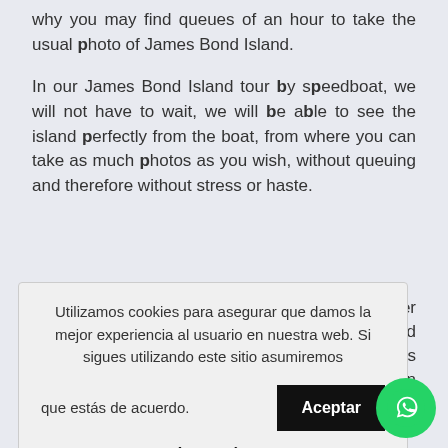why you may find queues of an hour to take the usual photo of James Bond Island.
In our James Bond Island tour by speedboat, we will not have to wait, we will be able to see the island perfectly from the boat, from where you can take as much photos as you wish, without queuing and therefore without stress or haste.
...ne in other ...ands around ...Hong Islands ...treasures in
[Figure (screenshot): Cookie consent overlay in Spanish: 'Utilizamos cookies para asegurar que damos la mejor experiencia al usuario en nuestra web. Si sigues utilizando este sitio asumiremos que estás de acuerdo.' with an 'Aceptar' button and 'Leer más' link]
...of two ...nd Krabi:
Yao Yai ("will means big") and Koh Yao Noi